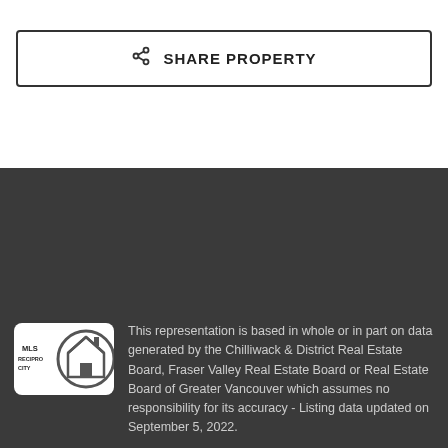SHARE PROPERTY
[Figure (logo): MLS Reciprocity logo — circular house icon with 'MLS RECIPROCITY' text]
This representation is based in whole or in part on data generated by the Chilliwack & District Real Estate Board, Fraser Valley Real Estate Board or Real Estate Board of Greater Vancouver which assumes no responsibility for its accuracy - Listing data updated on September 5, 2022.